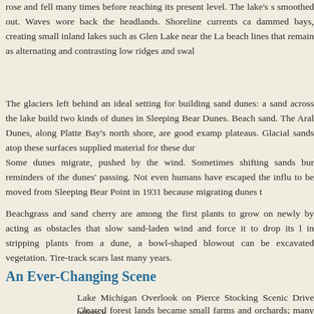rose and fell many times before reaching its present level. The lake's s smoothed out. Waves wore back the headlands. Shoreline currents ca dammed bays, creating small inland lakes such as Glen Lake near the La beach lines that remain as alternating and contrasting low ridges and swal
The glaciers left behind an ideal setting for building sand dunes: a sand across the lake build two kinds of dunes in Sleeping Bear Dunes. Beach sand. The Aral Dunes, along Platte Bay's north shore, are good examp plateaus. Glacial sands atop these surfaces supplied material for these dur
Some dunes migrate, pushed by the wind. Sometimes shifting sands bur reminders of the dunes' passing. Not even humans have escaped the influ to be moved from Sleeping Bear Point in 1931 because migrating dunes t
Beachgrass and sand cherry are among the first plants to grow on newly by acting as obstacles that slow sand-laden wind and force it to drop its l in stripping plants from a dune, a bowl-shaped blowout can be excavated vegetation. Tire-track scars last many years.
An Ever-Changing Scene
Lake Michigan Overlook on Pierce Stocking Scenic Drive offers v
Cleared forest lands became small farms and orchards; many were
Duck, Marin, slightly upscaled, this area wide for